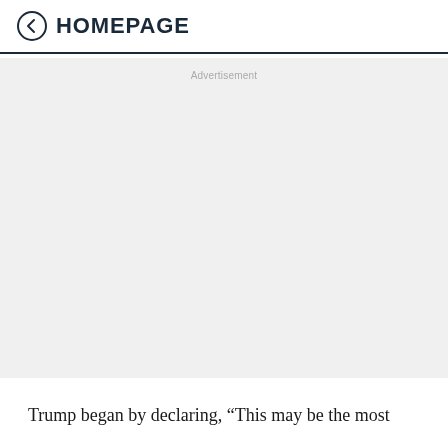← HOMEPAGE
[Figure (other): Advertisement placeholder block with light gray background and 'Advertisement' label at top center]
Trump began by declaring, “This may be the most